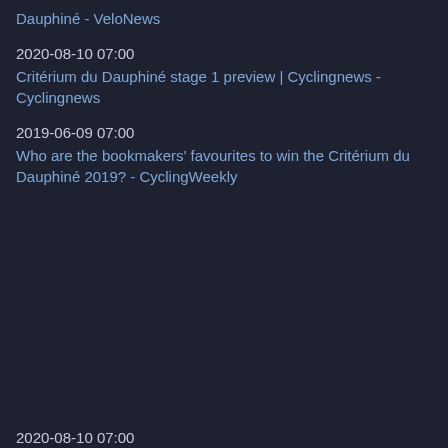Dauphiné - VeloNews
2020-08-10 07:00
Critérium du Dauphiné stage 1 preview | Cyclingnews - Cyclingnews
2019-06-09 07:00
Who are the bookmakers' favourites to win the Critérium du Dauphiné 2019? - CyclingWeekly
2020-08-10 07:00